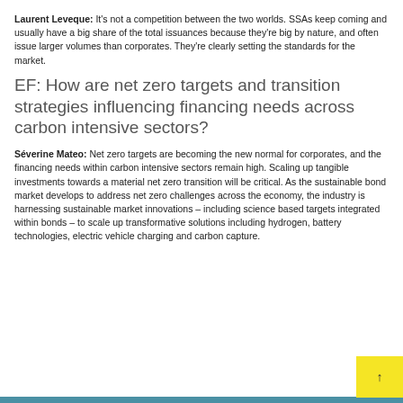Laurent Leveque: It's not a competition between the two worlds. SSAs keep coming and usually have a big share of the total issuances because they're big by nature, and often issue larger volumes than corporates. They're clearly setting the standards for the market.
EF: How are net zero targets and transition strategies influencing financing needs across carbon intensive sectors?
Séverine Mateo: Net zero targets are becoming the new normal for corporates, and the financing needs within carbon intensive sectors remain high. Scaling up tangible investments towards a material net zero transition will be critical. As the sustainable bond market develops to address net zero challenges across the economy, the industry is harnessing sustainable market innovations – including science based targets integrated within bonds – to scale up transformative solutions including hydrogen, battery technologies, electric vehicle charging and carbon capture.
↑